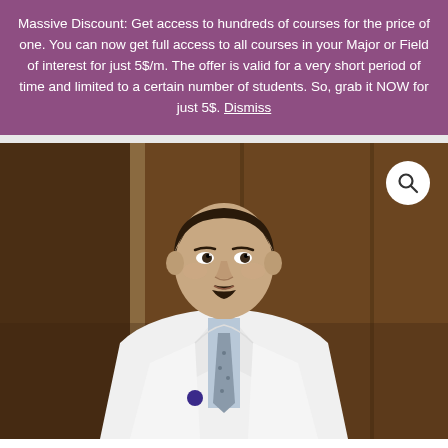Massive Discount: Get access to hundreds of courses for the price of one. You can now get full access to all courses in your Major or Field of interest for just 5$/m. The offer is valid for a very short period of time and limited to a certain number of students. So, grab it NOW for just 5$. Dismiss
[Figure (photo): A male doctor wearing a white lab coat, light blue dress shirt, and patterned tie, smiling at the camera. He has dark hair and a goatee. The background shows wooden paneling/walls. A search/zoom icon is visible in the top right corner of the image.]